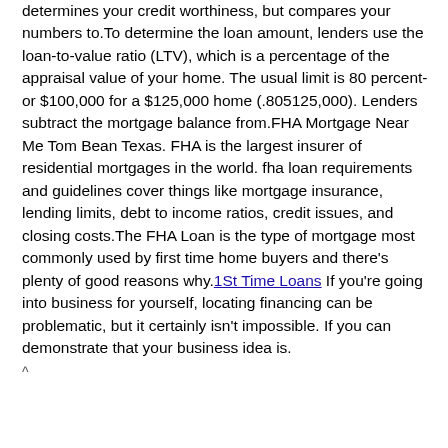determines your credit worthiness, but compares your numbers to.To determine the loan amount, lenders use the loan-to-value ratio (LTV), which is a percentage of the appraisal value of your home. The usual limit is 80 percent-or $100,000 for a $125,000 home (.805125,000). Lenders subtract the mortgage balance from.FHA Mortgage Near Me Tom Bean Texas. FHA is the largest insurer of residential mortgages in the world. fha loan requirements and guidelines cover things like mortgage insurance, lending limits, debt to income ratios, credit issues, and closing costs.The FHA Loan is the type of mortgage most commonly used by first time home buyers and there's plenty of good reasons why.1St Time Loans If you're going into business for yourself, locating financing can be problematic, but it certainly isn't impossible. If you can demonstrate that your business idea is.